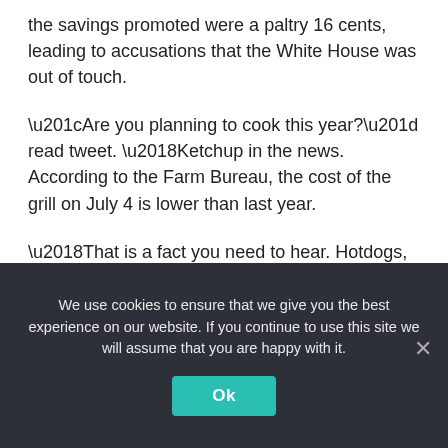the savings promoted were a paltry 16 cents, leading to accusations that the White House was out of touch.
“Are you planning to cook this year?” read tweet. ‘Ketchup in the news. According to the Farm Bureau, the cost of the grill on July 4 is lower than last year.
‘That is a fact you need to hear. Hotdogs, Baiden’s economic plan works. And this is something we can all enjoy.
A GIF image showing price changes for individual foods was attached to the tweet.
We use cookies to ensure that we give you the best experience on our website. If you continue to use this site we will assume that you are happy with it.